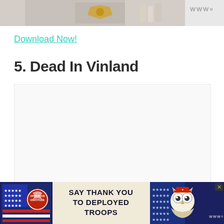[Figure (photo): Partial top image bar showing merchandise/apparel with a badge/emblem, cropped at top of page]
Download Now!
5. Dead In Vinland
[Figure (other): Empty content placeholder box]
[Figure (other): Advertisement banner at bottom: Operation Gratitude 'SAY THANK YOU TO DEPLOYED TROOPS' with owl graphic and American flag imagery]